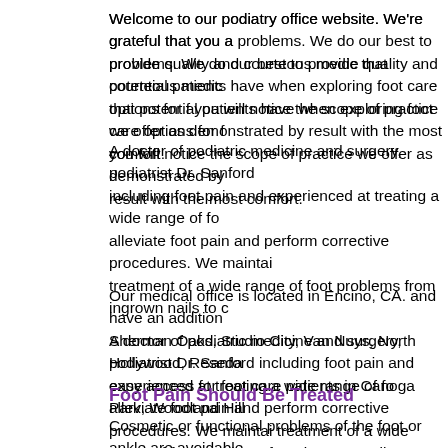Welcome to our podiatry office website. We're grateful that you a... problems. We do our best to provide quality and courteous medic... that potential patients have when exploring foot care options for f... you will notice the scope of practice we offer as demonstrated by... result with the most comfort.
A doctor of podiatric medicine and surgery, podiatrist Dr. Sanford... including foot pain and experienced at treating a wide range of fo... alleviate foot pain and perform corrective procedures. We maintai... treatment of a wide range of foot problems from ingrown nails to c...
Our medical office is located in Encino, CA. and have an addition... Sherman Oaks, Studio City, Van Nuys, North Hollywood, Reseda... easy access for foot care patients in Canoga Park, Woodland Hill...
Foot Pain Should Be Treated
Cosmetic or functional problems of the foot or ankle are avoidable... --- Women should not be forced to abandon their heels or pump...